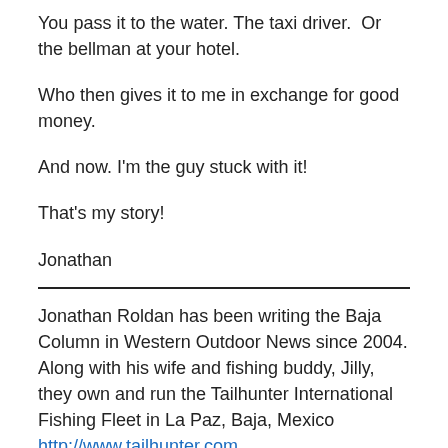You pass it to the water. The taxi driver.  Or the bellman at your hotel.
Who then gives it to me in exchange for good money.
And now. I'm the guy stuck with it!
That's my story!
Jonathan
Jonathan Roldan has been writing the Baja Column in Western Outdoor News since 2004. Along with his wife and fishing buddy, Jilly, they own and run the Tailhunter International Fishing Fleet in La Paz, Baja, Mexico http://www.tailhunter.com.
They also run their Tailhunter Restaurant Bar on the